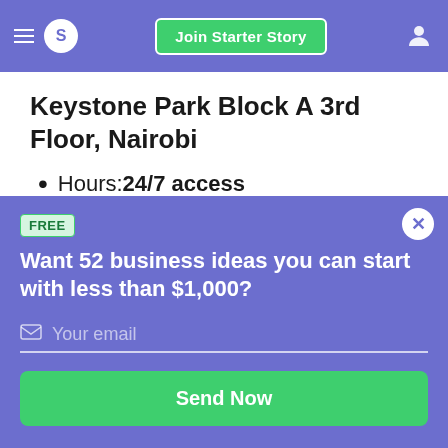S  Join Starter Story
Keystone Park Block A 3rd Floor, Nairobi
Hours: 24/7 access
Amenities: Fully-furnished offices, High-speed WiFi & back up power,
FREE
Want 52 business ideas you can start with less than $1,000?
Your email
Send Now